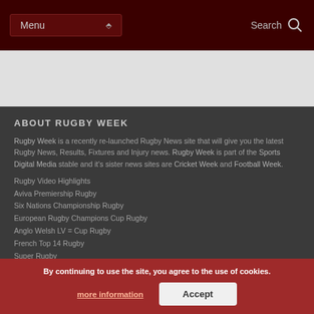Menu  Search
[Figure (other): Advertisement / banner area (grey placeholder)]
ABOUT RUGBY WEEK
Rugby Week is a recently re-launched Rugby News site that will give you the latest Rugby News, Results, Fixtures and Injury news. Rugby Week is part of the Sports Digital Media stable and it's sister news sites are Cricket Week and Football Week.
Rugby Video Highlights
Aviva Premiership Rugby
Six Nations Championship Rugby
European Rugby Champions Cup Rugby
Anglo Welsh LV = Cup Rugby
French Top 14 Rugby
Super Rugby
SPORTS DIGITAL MEDIA
By continuing to use the site, you agree to the use of cookies.
more information  Accept